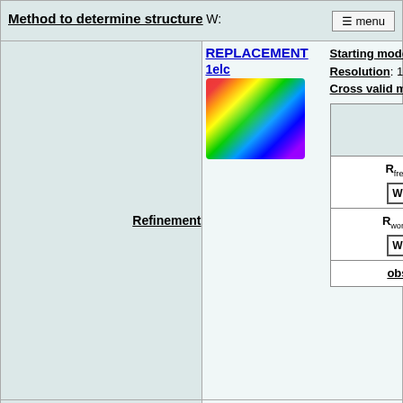Method to determine structure W: menu
REPLACEMENT
|  | R_factor W | Num. reflections |
| --- | --- | --- |
| R_free W | 0.22 | 771 |
| R_work W | 0.172 | - |
| obs | - | 14069 |
Solvent computation
B_sol: 72.016 Å²
Displacement parameters
B_iso mean: 20.133 Å²
|  | B_aniso -1 | B_aniso -2 | B_aniso -3 |
| --- | --- | --- | --- |
| 1- | -4.293 Å² | 0 Å² | 0 Å² |
| 2- | - | 3.378 Å² | 0 Å² |
| 3- | - | - | 0.915 Å² |